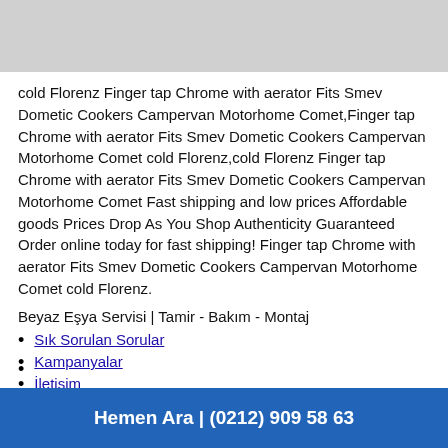[Figure (photo): Gray image placeholder at top of page]
cold Florenz Finger tap Chrome with aerator Fits Smev Dometic Cookers Campervan Motorhome Comet,Finger tap Chrome with aerator Fits Smev Dometic Cookers Campervan Motorhome Comet cold Florenz,cold Florenz Finger tap Chrome with aerator Fits Smev Dometic Cookers Campervan Motorhome Comet Fast shipping and low prices Affordable goods Prices Drop As You Shop Authenticity Guaranteed Order online today for fast shipping! Finger tap Chrome with aerator Fits Smev Dometic Cookers Campervan Motorhome Comet cold Florenz.
Beyaz Eşya Servisi | Tamir - Bakım - Montaj
Sık Sorulan Sorular
Kampanyalar
İletişim
Hemen Ara | (0212) 909 58 63